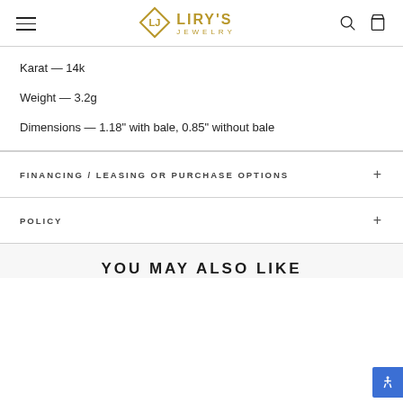Liry's Jewelry
Karat — 14k
Weight — 3.2g
Dimensions — 1.18” with bale, 0.85” without bale
FINANCING / LEASING OR PURCHASE OPTIONS
POLICY
YOU MAY ALSO LIKE